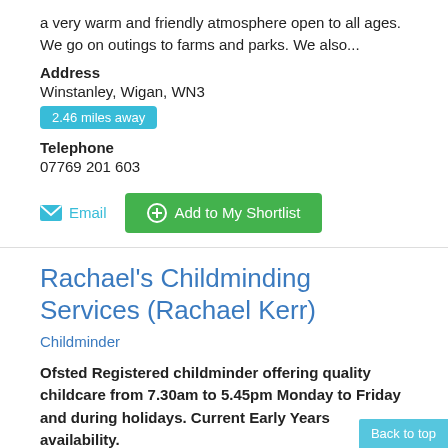a very warm and friendly atmosphere open to all ages. We go on outings to farms and parks. We also...
Address
Winstanley, Wigan, WN3
2.46 miles away
Telephone
07769 201 603
Email
Add to My Shortlist
Rachael's Childminding Services (Rachael Kerr)
Childminder
Ofsted Registered childminder offering quality childcare from 7.30am to 5.45pm Monday to Friday and during holidays. Current Early Years availability.
I am an Ofsted registered childminder based in Golborne/Lowton offering affordable childcare in a home from home environment. I live with my partner and our children in a lovely residential area close to local amenities. I have a